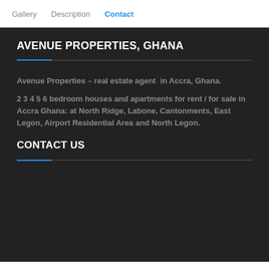Gallery   Description   Contact
AVENUE PROPERTIES, GHANA
Avenue Properties – real estate agent  in Accra, Ghana.
2 3 4 5 6 bedroom houses and apartments for rent / for sale in Accra Ghana: at North Ridge, Labone, Cantonments, East Legon, Airport Residential Area and North Legon.
CONTACT US